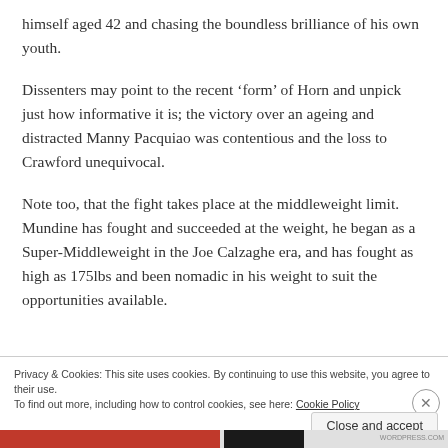himself aged 42 and chasing the boundless brilliance of his own youth.
Dissenters may point to the recent ‘form’ of Horn and unpick just how informative it is; the victory over an ageing and distracted Manny Pacquiao was contentious and the loss to Crawford unequivocal.
Note too, that the fight takes place at the middleweight limit. Mundine has fought and succeeded at the weight, he began as a Super-Middleweight in the Joe Calzaghe era, and has fought as high as 175lbs and been nomadic in his weight to suit the opportunities available.
Privacy & Cookies: This site uses cookies. By continuing to use this website, you agree to their use.
To find out more, including how to control cookies, see here: Cookie Policy
Close and accept